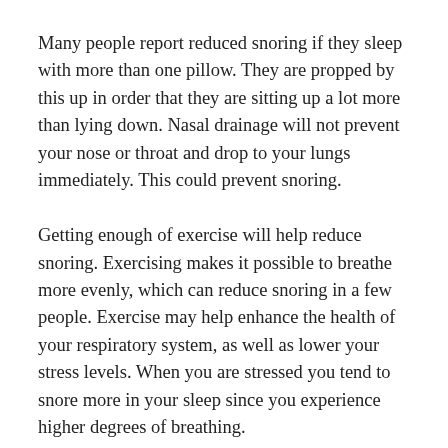Many people report reduced snoring if they sleep with more than one pillow. They are propped by this up in order that they are sitting up a lot more than lying down. Nasal drainage will not prevent your nose or throat and drop to your lungs immediately. This could prevent snoring.
Getting enough of exercise will help reduce snoring. Exercising makes it possible to breathe more evenly, which can reduce snoring in a few people. Exercise may help enhance the health of your respiratory system, as well as lower your stress levels. When you are stressed you tend to snore more in your sleep since you experience higher degrees of breathing.
Snoring is often brought on by eating milk products, even if lactose intolerance is not present. Dairy